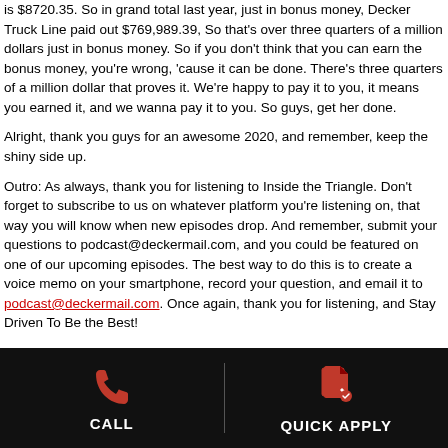is $8720.35. So in grand total last year, just in bonus money, Decker Truck Line paid out $769,989.39, So that's over three quarters of a million dollars just in bonus money. So if you don't think that you can earn the bonus money, you're wrong, 'cause it can be done. There's three quarters of a million dollar that proves it. We're happy to pay it to you, it means you earned it, and we wanna pay it to you. So guys, get her done.
Alright, thank you guys for an awesome 2020, and remember, keep the shiny side up.
Outro: As always, thank you for listening to Inside the Triangle. Don't forget to subscribe to us on whatever platform you're listening on, that way you will know when new episodes drop. And remember, submit your questions to podcast@deckermail.com, and you could be featured on one of our upcoming episodes. The best way to do this is to create a voice memo on your smartphone, record your question, and email it to podcast@deckermail.com. Once again, thank you for listening, and Stay Driven To Be the Best!
Message to All Drivers – Winter Weather Advisory (1/16/2020)
Posted January 16, 2020 by deckerAdmin
WINTER WEATHER ADVISORY:
[Figure (infographic): Black footer bar with CALL button on left (phone icon in red) and QUICK APPLY button on right (document icon in red), separated by a vertical line]